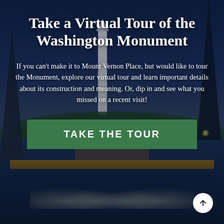[Figure (photo): Nighttime photo of the Washington Monument at Mount Vernon Place, Baltimore, with fountain pool in foreground, street lights, bare trees, and a dark blue sky.]
Take a Virtual Tour of the Washington Monument
If you can't make it to Mount Vernon Place, but would like to tour the Monument, explore our virtual tour and learn important details about its construction and meaning. Or, dip in and see what you missed on a recent visit!
TAKE THE TOUR